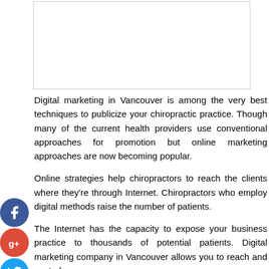[Figure (other): Blank white image placeholder with border]
Digital marketing in Vancouver is among the very best techniques to publicize your chiropractic practice. Though many of the current health providers use conventional approaches for promotion but online marketing approaches are now becoming popular.
Online strategies help chiropractors to reach the clients where they're through Internet. Chiropractors who employ digital methods raise the number of patients.
The Internet has the capacity to expose your business practice to thousands of potential patients. Digital marketing company in Vancouver allows you to reach and control your